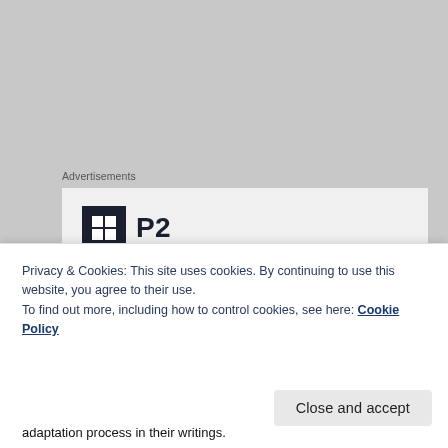Advertisements
[Figure (logo): P2 logo with dark square icon containing a grid/window symbol, followed by bold text 'P2', and partial text below reading 'Getting your team on']
None of these symptoms are dangerous in the context of beginning an All-Meat diet, and they should resolve themselves within the first 2-8 weeks.
People have tried a variety of different therapeutic
Privacy & Cookies: This site uses cookies. By continuing to use this website, you agree to their use.
To find out more, including how to control cookies, see here: Cookie Policy
adaptation process in their writings.